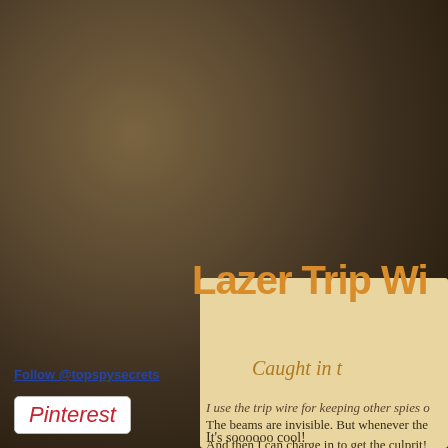[Figure (screenshot): Dark brownish gradient background resembling aged parchment or leather texture]
Lazer Trip Wi
Caught in t
I use the trip wire for keeping other spies o
The beams are invisible. But whenever the
And then I can charge in to get the culprit!
It's soooooo cool!
Follow @topspysecrets
[Figure (logo): Pinterest logo button — white background with red cursive Pinterest text]